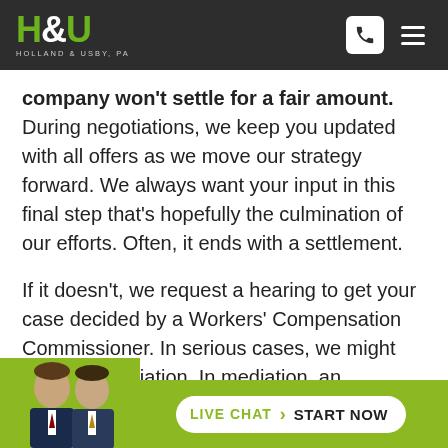Holland & Usby, PA — logo and navigation
company won't settle for a fair amount. During negotiations, we keep you updated with all offers as we move our strategy forward. We always want your input in this final step that's hopefully the culmination of our efforts. Often, it ends with a settlement.
If it doesn't, we request a hearing to get your case decided by a Workers' Compensation Commissioner. In serious cases, we might agree to mediation. In mediation, an experienced workers' comp lawyer who's not involved with the case works with both
[Figure (photo): Two male attorneys in suits, photo in bottom-left corner]
LIVE CHAT › START NOW